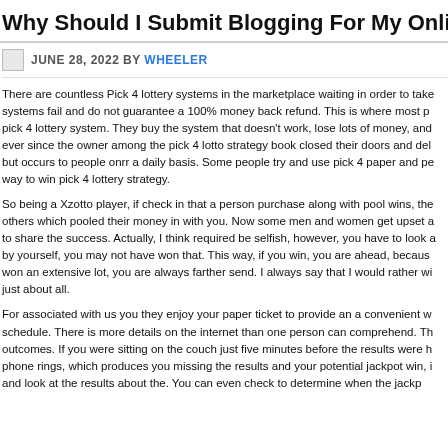Why Should I Submit Blogging For My Online Internet M
JUNE 28, 2022 BY WHEELER
There are countless Pick 4 lottery systems in the marketplace waiting in order to take systems fail and do not guarantee a 100% money back refund. This is where most p pick 4 lottery system. They buy the system that doesn't work, lose lots of money, and ever since the owner among the pick 4 lotto strategy book closed their doors and del but occurs to people onrr a daily basis. Some people try and use pick 4 paper and pe way to win pick 4 lottery strategy.
So being a Xzotto player, if check in that a person purchase along with pool wins, the others which pooled their money in with you. Now some men and women get upset a to share the success. Actually, I think required be selfish, however, you have to look a by yourself, you may not have won that. This way, if you win, you are ahead, becaus won an extensive lot, you are always farther send. I always say that I would rather wi just about all.
For associated with us you they enjoy your paper ticket to provide an a convenient w schedule. There is more details on the internet than one person can comprehend. Th outcomes. If you were sitting on the couch just five minutes before the results were h phone rings, which produces you missing the results and your potential jackpot win, i and look at the results about the. You can even check to determine when the jackp